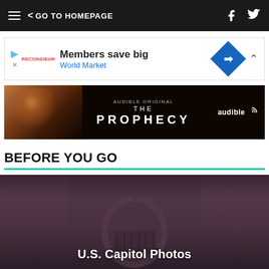GO TO HOMEPAGE
[Figure (other): Advertisement banner: Members save big - World Market]
[Figure (other): Audible Original advertisement: THE PROPHECY]
BEFORE YOU GO
[Figure (photo): U.S. Capitol building dome at dusk with overlaid text 'U.S. Capitol Photos']